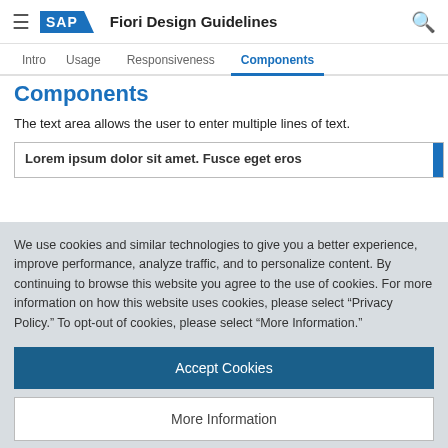SAP Fiori Design Guidelines
Components
The text area allows the user to enter multiple lines of text.
[Figure (screenshot): Text area component showing 'Lorem ipsum dolor sit amet. Fusce eget eros' with a scrollbar on the right]
We use cookies and similar technologies to give you a better experience, improve performance, analyze traffic, and to personalize content. By continuing to browse this website you agree to the use of cookies. For more information on how this website uses cookies, please select “Privacy Policy.” To opt-out of cookies, please select “More Information.”
Accept Cookies
More Information
Privacy Policy | Powered by: TrustArc
inherited from sap.m.InputBase; property: placeholder